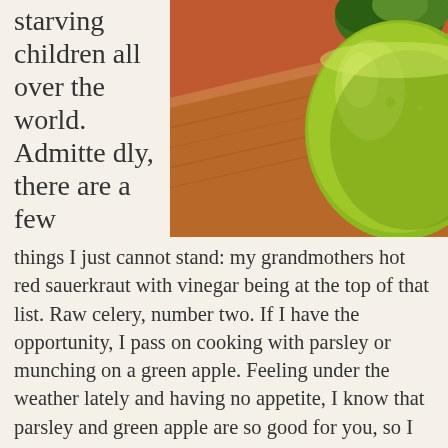starving children all over the world. Admittedly, there are a few
[Figure (photo): A green smoothie or juice in a rounded glass cup on a wooden cutting board, with fresh parsley/herbs in the background. The drink is a yellow-green color.]
things I just cannot stand: my grandmothers hot red sauerkraut with vinegar being at the top of that list. Raw celery, number two.  If I have the opportunity, I pass on cooking with parsley or munching on a green apple.  Feeling under the weather lately and having no appetite, I know that parsley and green apple are so good for you, so I bent my rules.